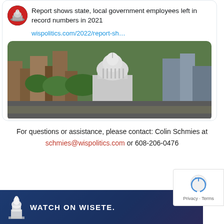[Figure (screenshot): Social media card showing Wisconsin state capitol building aerial photo with headline: Report shows state, local government employees left in record numbers in 2021, and link wispolitics.com/2022/report-sh...]
Report shows state, local government employees left in record numbers in 2021
wispolitics.com/2022/report-sh…
For questions or assistance, please contact: Colin Schmies at schmies@wispolitics.com or 608-206-0476
[Figure (logo): WATCH ON WISETE. footer banner with Wisconsin state capitol logo]